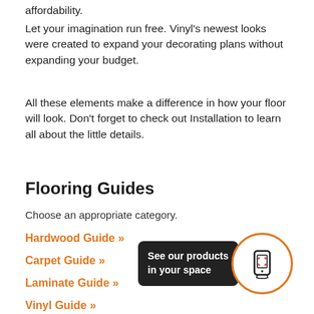affordability.
Let your imagination run free. Vinyl's newest looks were created to expand your decorating plans without expanding your budget.
All these elements make a difference in how your floor will look. Don't forget to check out Installation to learn all about the little details.
Flooring Guides
Choose an appropriate category.
Hardwood Guide »
Carpet Guide »
Laminate Guide »
Vinyl Guide »
[Figure (infographic): Promotional button showing a smartphone icon inside an orange-bordered circle next to a dark box saying 'See our products in your space']